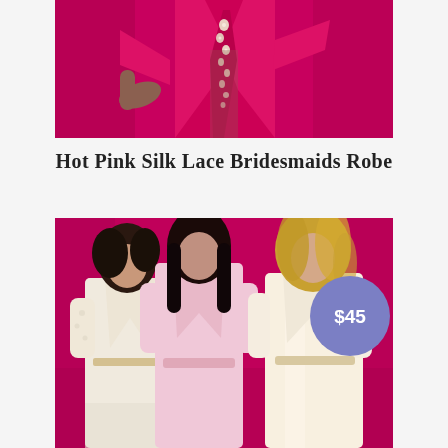[Figure (photo): A woman in a hot pink silk lace robe with floral/pearl embellishments on a magenta/pink background, cropped to show torso and hands]
Hot Pink Silk Lace Bridesmaids Robe
[Figure (photo): Three women wearing silk lace bridesmaids robes (white/cream, light pink, and cream satin) posed together against a hot pink/magenta background. A purple circle price badge showing $45 is in the upper right corner.]